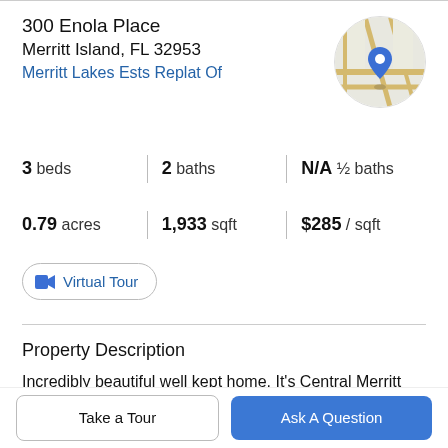300 Enola Place
Merritt Island, FL 32953
Merritt Lakes Ests Replat Of
[Figure (map): Circular map thumbnail showing street map with blue location pin marker]
3 beds  |  2 baths  |  N/A ½ baths
0.79 acres  |  1,933 sqft  |  $285 / sqft
Virtual Tour
Property Description
Incredibly beautiful well kept home. It's Central Merritt Island's best kept secret down a private drive to 3 most beautifully tucked away homes surrounded by Lake Betty and Lake Robin. This home boast a large open floor plan
Take a Tour
Ask A Question